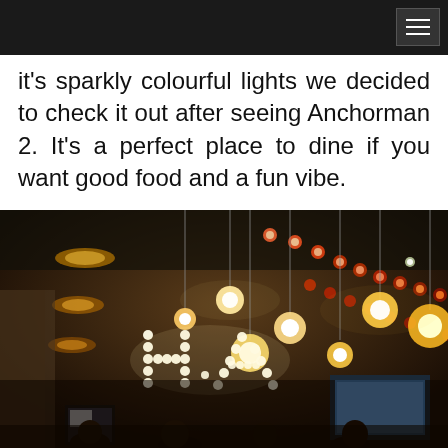it's sparkly colourful lights we decided to check it out after seeing Anchorman 2. It's a perfect place to dine if you want good food and a fun vibe.
[Figure (photo): Interior of a restaurant named HAL showing illuminated letter signs spelling 'HAL' made of bulb lights, hanging globe pendant lights, a decorative strip of round lights along the ceiling, ceiling-mounted circular lights, a TV screen, and diners seated in a dark warm-toned atmosphere.]